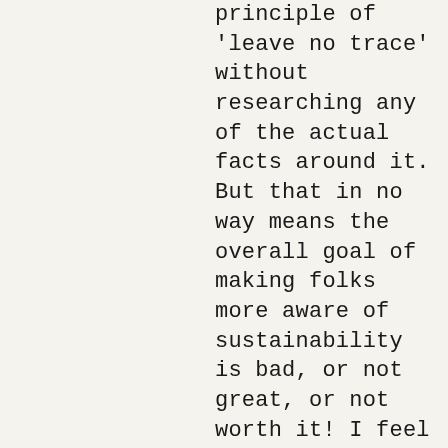principle of 'leave no trace' without researching any of the actual facts around it. But that in no way means the overall goal of making folks more aware of sustainability is bad, or not great, or not worth it! I feel like I have a better understanding of this festival due to your posts, thank you! I appreciate your beautiful photos and thoughtful posts and responses to comments like mine